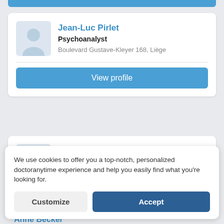[Figure (screenshot): Partial blue button bar at top of screen]
Jean-Luc Pirlet
Psychoanalyst
Boulevard Gustave-Kleyer 168, Liège
View profile
Isabelle Georis
Psychoanalyst
Rue Bureau 83, Fléron
We use cookies to offer you a top-notch, personalized doctoranytime experience and help you easily find what you're looking for.
Customize
Accept
Anne Becker